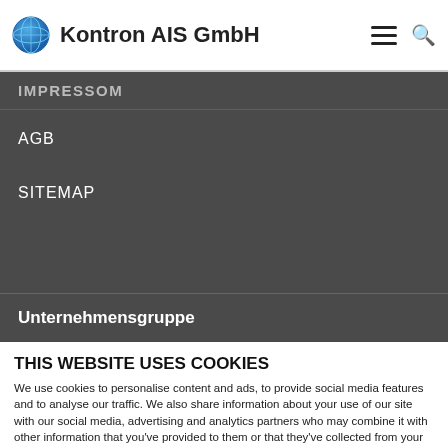Kontron AIS GmbH
IMPRESSOM
AGB
SITEMAP
Unternehmensgruppe
THIS WEBSITE USES COOKIES
We use cookies to personalise content and ads, to provide social media features and to analyse our traffic. We also share information about your use of our site with our social media, advertising and analytics partners who may combine it with other information that you've provided to them or that they've collected from your use of their services.
Allow selection | Allow all cookies
Necessary | Preferences | Statistics | Marketing | Show details